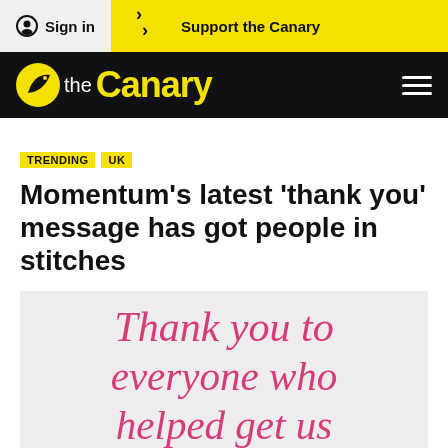Sign in | Support the Canary
[Figure (logo): The Canary logo — yellow bird leaf icon with 'the' in white and 'Canary' in yellow on black background, with hamburger menu icon on the right]
TRENDING
UK
Momentum’s latest ‘thank you’ message has got people in stitches
[Figure (photo): Light grey background with pink/magenta italic serif text reading: 'Thank you to everyone who helped get us this far.']